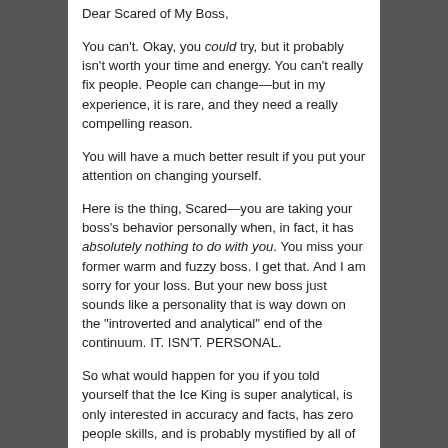Dear Scared of My Boss,
You can't. Okay, you could try, but it probably isn't worth your time and energy. You can't really fix people. People can change—but in my experience, it is rare, and they need a really compelling reason.
You will have a much better result if you put your attention on changing yourself.
Here is the thing, Scared—you are taking your boss's behavior personally when, in fact, it has absolutely nothing to do with you. You miss your former warm and fuzzy boss. I get that. And I am sorry for your loss. But your new boss just sounds like a personality that is way down on the "introverted and analytical" end of the continuum. IT. ISN'T. PERSONAL.
So what would happen for you if you told yourself that the Ice King is super analytical, is only interested in accuracy and facts, has zero people skills, and is probably mystified by all of his direct